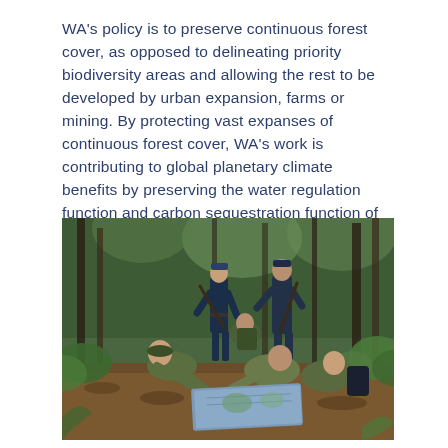WA's policy is to preserve continuous forest cover, as opposed to delineating priority biodiversity areas and allowing the rest to be developed by urban expansion, farms or mining. By protecting vast expanses of continuous forest cover, WA's work is contributing to global planetary climate benefits by preserving the water regulation function and carbon sequestration function of the rainforest.
[Figure (photo): Group of forest rangers or conservation officers in military-style uniforms kneeling and crouching on a forest floor covered with dry leaves, studying a map together. Two more officers stand behind them in a dense green rainforest setting.]